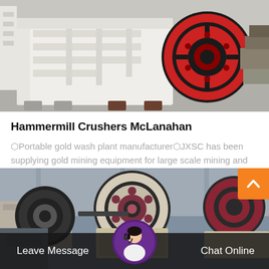[Figure (photo): White industrial jaw crusher / hammermill machine with red flywheel, photographed in a factory/warehouse setting. Machine is large, cream/white colored with black and red wheel visible.]
Hammermill Crushers McLanahan
⬡Portable gold wash plant manufacturer⬡JXSC has been supplying gold mining equipment for large scale mining and small scale mining plant…
[Figure (photo): Industrial jaw crusher machines with large red and black flywheels/wheels in a factory floor setting, black and white/muted color industrial photography.]
Leave Message
Chat Online